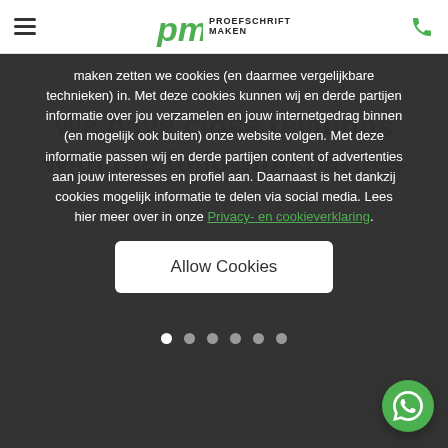Proefschrift Maken
maken zetten we cookies (en daarmee vergelijkbare technieken) in. Met deze cookies kunnen wij en derde partijen informatie over jou verzamelen en jouw internetgedrag binnen (en mogelijk ook buiten) onze website volgen. Met deze informatie passen wij en derde partijen content of advertenties aan jouw interesses en profiel aan. Daarnaast is het dankzij cookies mogelijk informatie te delen via social media. Lees hier meer over in onze Privacy- en cookieverklaring.
Allow Cookies